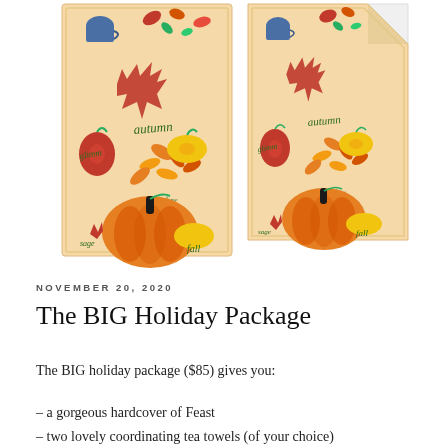[Figure (photo): Two autumn-themed tea towels with pumpkin, fall leaves, and seasonal words like 'autumn' and 'fall' on a warm beige background. Left towel shown flat, right towel shown with corner folded.]
NOVEMBER 20, 2020
The BIG Holiday Package
The BIG holiday package ($85) gives you:
– a gorgeous hardcover of Feast
– two lovely coordinating tea towels (of your choice)